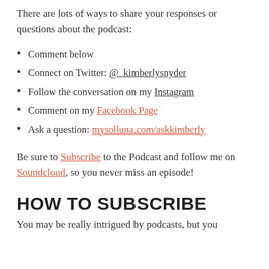There are lots of ways to share your responses or questions about the podcast:
Comment below
Connect on Twitter: @_kimberlysnyder
Follow the conversation on my Instagram
Comment on my Facebook Page
Ask a question: mysolluna.com/askkimberly
Be sure to Subscribe to the Podcast and follow me on Soundcloud, so you never miss an episode!
HOW TO SUBSCRIBE
You may be really intrigued by podcasts, but you